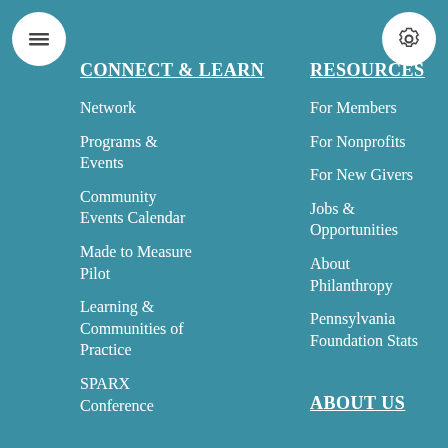CONNECT & LEARN
Network
Programs & Events
Community Events Calendar
Made to Measure Pilot
Learning & Communities of Practice
SPARX Conference
RESOURCES
For Members
For Nonprofits
For New Givers
Jobs & Opportunities
About Philanthropy
Pennsylvania Foundation Stats
ABOUT US